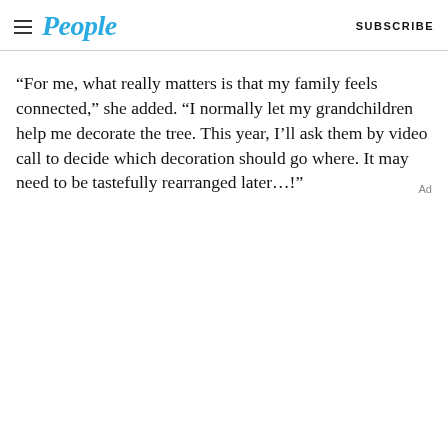People  SUBSCRIBE
“For me, what really matters is that my family feels connected,” she added. “I normally let my grandchildren help me decorate the tree. This year, I’ll ask them by video call to decide which decoration should go where. It may need to be tastefully rearranged later…!”